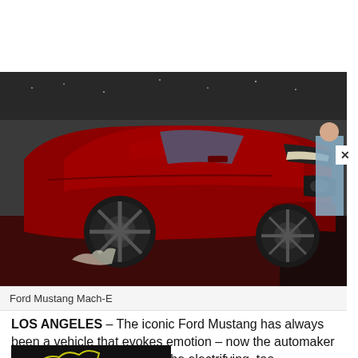[Figure (photo): Red Ford Mustang Mach-E SUV on display at an event, with a person in blue dress visible in background and a pony logo projected on the ground]
Ford Mustang Mach-E
LOS ANGELES – The iconic Ford Mustang has always been a vehicle that evokes emotion – now the automaker is expecting the Mustang to be electrifying, too.
[Figure (photo): Dark image showing illuminated Mustang pony logo outline]